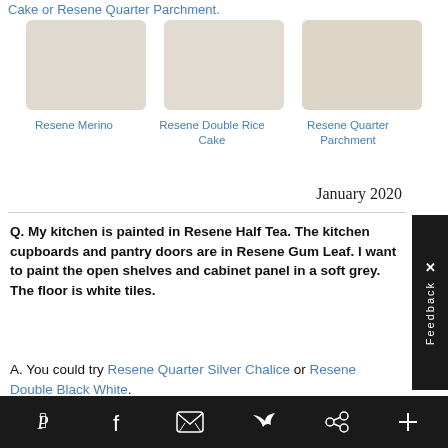Cake or Resene Quarter Parchment.
[Figure (illustration): Three paint color swatches: Resene Merino (light beige), Resene Double Rice Cake (slightly warmer beige), Resene Quarter Parchment (warm grey-beige)]
Resene Merino
Resene Double Rice Cake
Resene Quarter Parchment
January 2020
Q. My kitchen is painted in Resene Half Tea. The kitchen cupboards and pantry doors are in Resene Gum Leaf. I want to paint the open shelves and cabinet panel in a soft grey. The floor is white tiles.
A. You could try Resene Quarter Silver Chalice or Resene Double Black White.
Pinterest Facebook Email Twitter Link Plus